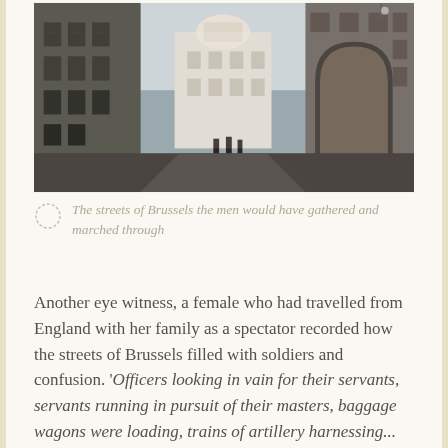[Figure (photo): Street view of Brussels showing tall historic buildings with ornate facades, an arched gateway on the right, and a decorative white building visible in the background between the buildings. People visible in the distance walking on the street.]
The streets of Brussels the men would have gathered and marched through
Another eye witness, a female who had travelled from England with her family as a spectator recorded how the streets of Brussels filled with soldiers and confusion. 'Officers looking in vain for their servants, servants running in pursuit of their masters, baggage wagons were loading, trains of artillery harnessing... As the dawn broke the soldiers were seen assembling from all parts of town, in marching order, with their knapsacks on their